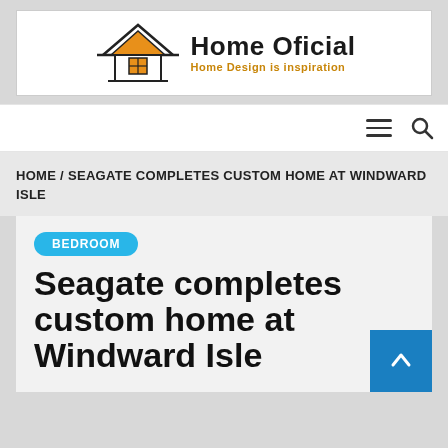[Figure (logo): Home Oficial logo with house icon, bold title 'Home Oficial' and subtitle 'Home Design is inspiration']
HOME / SEAGATE COMPLETES CUSTOM HOME AT WINDWARD ISLE
BEDROOM
Seagate completes custom home at Windward Isle